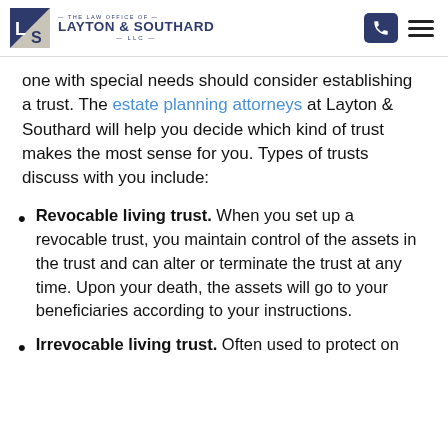The Law Office of Layton & Southard LLC
one with special needs should consider establishing a trust. The estate planning attorneys at Layton & Southard will help you decide which kind of trust makes the most sense for you. Types of trusts discuss with you include:
Revocable living trust. When you set up a revocable trust, you maintain control of the assets in the trust and can alter or terminate the trust at any time. Upon your death, the assets will go to your beneficiaries according to your instructions.
Irrevocable living trust. Often used to protect on